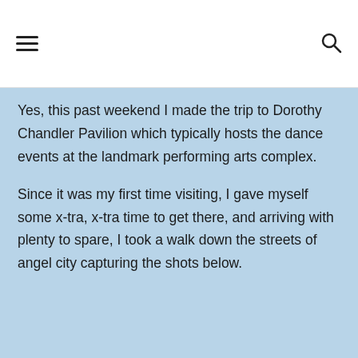[hamburger menu icon] [search icon]
Yes, this past weekend I made the trip to Dorothy Chandler Pavilion which typically hosts the dance events at the landmark performing arts complex.
Since it was my first time visiting, I gave myself some x-tra, x-tra time to get there, and arriving with plenty to spare, I took a walk down the streets of angel city capturing the shots below.